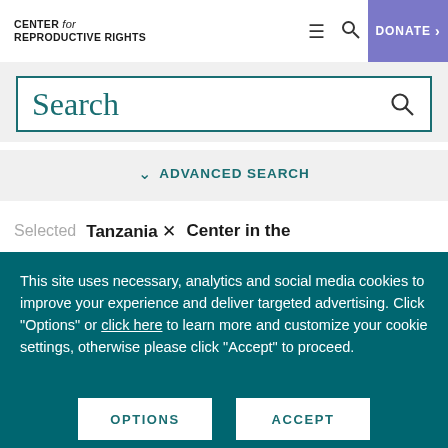CENTER for REPRODUCTIVE RIGHTS — DONATE
Search
ADVANCED SEARCH
Selected   Tanzania ×   Center in the
This site uses necessary, analytics and social media cookies to improve your experience and deliver targeted advertising. Click "Options" or click here to learn more and customize your cookie settings, otherwise please click "Accept" to proceed.
OPTIONS
ACCEPT